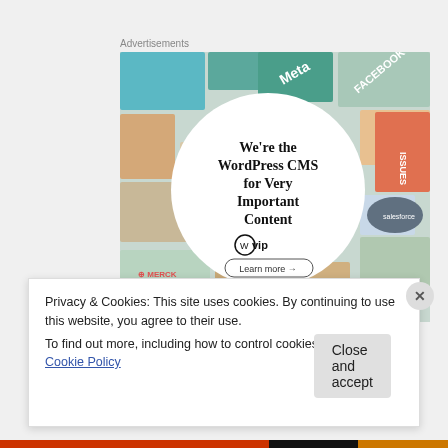Advertisements
[Figure (illustration): WordPress VIP advertisement showing a collage of brand logos (Meta, Facebook, Merck, Capgemini, Hachette, Salesforce) in the background with a white circle overlay containing the text 'We're the WordPress CMS for Very Important Content' with the WordPress VIP logo and a 'Learn more' button]
Privacy & Cookies: This site uses cookies. By continuing to use this website, you agree to their use.
To find out more, including how to control cookies, see here: Cookie Policy
Close and accept